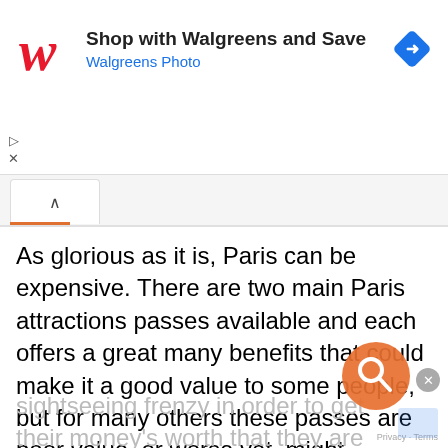[Figure (screenshot): Walgreens advertisement banner with red cursive W logo, text 'Shop with Walgreens and Save / Walgreens Photo', and a blue diamond navigation icon on the right. Below the ad are small play and X icons. A tab bar with an active tab showing a chevron/caret and an orange underline. Main article text reads: 'As glorious as it is, Paris can be expensive. There are two main Paris attractions passes available and each offers a great many benefits that could make it a good value to some people, but for many others these passes are poor value, or worse yet, might encourage visitors into such a sightseeing frenzy in order to get their money's worth that they are unable to enjoy the wonders of the city.' The bottom text is faded/greyed and overlaid with an orange search icon circle and close X button.]